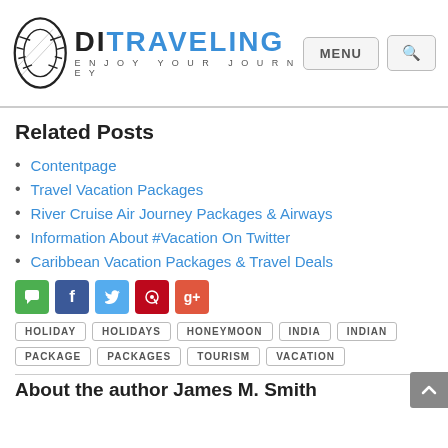DI TRAVELING — ENJOY YOUR JOURNEY
Related Posts
Contentpage
Travel Vacation Packages
River Cruise Air Journey Packages & Airways
Information About #Vacation On Twitter
Caribbean Vacation Packages & Travel Deals
[Figure (infographic): Social sharing icons: chat (green), Facebook (blue), Twitter (light blue), Pinterest (red), Google+ (orange-red)]
HOLIDAY  HOLIDAYS  HONEYMOON  INDIA  INDIAN  PACKAGE  PACKAGES  TOURISM  VACATION
About the author James M. Smith